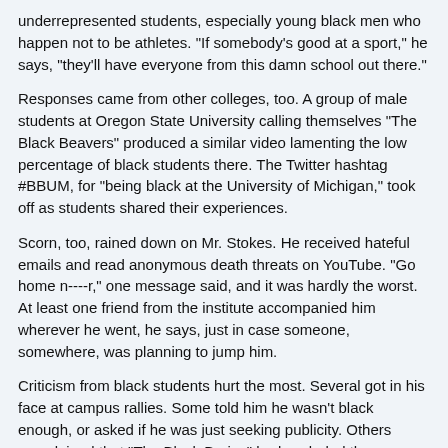underrepresented students, especially young black men who happen not to be athletes. "If somebody's good at a sport," he says, "they'll have everyone from this damn school out there."
Responses came from other colleges, too. A group of male students at Oregon State University calling themselves "The Black Beavers" produced a similar video lamenting the low percentage of black students there. The Twitter hashtag #BBUM, for "being black at the University of Michigan," took off as students shared their experiences.
Scorn, too, rained down on Mr. Stokes. He received hateful emails and read anonymous death threats on YouTube. "Go home n----r," one message said, and it was hardly the worst. At least one friend from the institute accompanied him wherever he went, he says, just in case someone, somewhere, was planning to jump him.
Criticism from black students hurt the most. Several got in his face at campus rallies. Some told him he wasn't black enough, or asked if he was just seeking publicity. Others complained that "The Black Bruins" had excluded the concerns of black women. He lost friends over it all.
As links to the video flew, it caught the eye of a prominent civil-rights group. The Rainbow PUSH Coalition invited Mr. Stokes and his friends to a belated birthday for the Rev. Jesse L. Jackson at a Los Angeles hotel, where Chaka Khan sang. The next day, the students met with Mr. Jackson